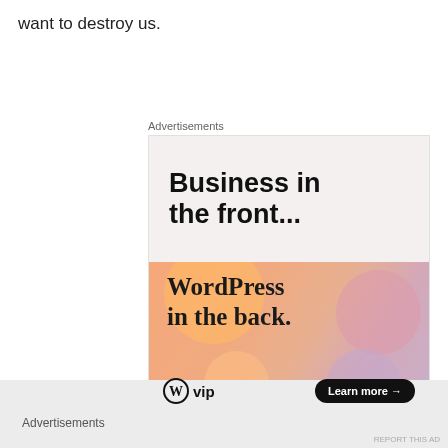want to destroy us.
Advertisements
[Figure (illustration): WordPress VIP advertisement. Top half has light pink/beige background with bold text 'Business in the front...' Bottom half has colorful gradient background with blob shapes and bold serif text 'WordPress in the back.' with WordPress VIP logo and 'Learn more' button.]
Advertisements